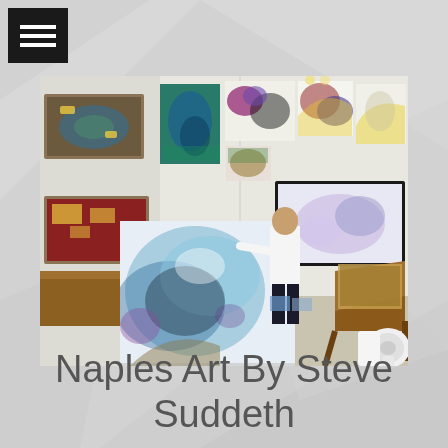[Figure (photo): Artist Steve Suddeth standing in his art studio surrounded by numerous colorful abstract paintings on the walls and on an easel. The studio contains framed artworks in various sizes with vibrant abstract designs in blue, yellow, purple, and other colors. A drafting table is visible on the right side.]
Naples Art By Steve Suddeth